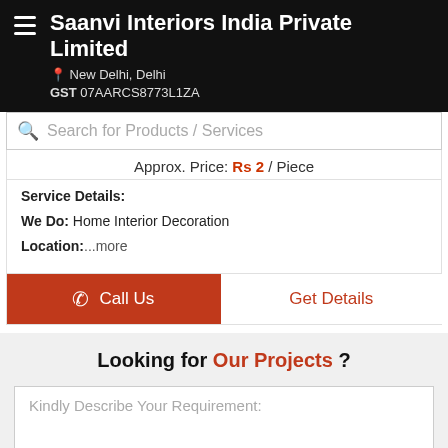Saanvi Interiors India Private Limited
New Delhi, Delhi
GST 07AARCS8773L1ZA
Search for Products / Services
Approx. Price: Rs 2 / Piece
Service Details:
We Do: Home Interior Decoration
Location: ...more
Call Us
Get Details
Looking for Our Projects ?
Kindly Describe Your Requirement:
Enter Your Email